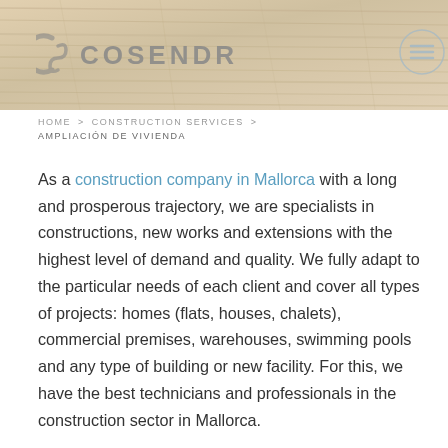[Figure (photo): Wood grain texture background header image]
CS COSENDRA (logo with menu icon)
HOME > CONSTRUCTION SERVICES > AMPLIACIÓN DE VIVIENDA
As a construction company in Mallorca with a long and prosperous trajectory, we are specialists in constructions, new works and extensions with the highest level of demand and quality. We fully adapt to the particular needs of each client and cover all types of projects: homes (flats, houses, chalets), commercial premises, warehouses, swimming pools and any type of building or new facility. For this, we have the best technicians and professionals in the construction sector in Mallorca.